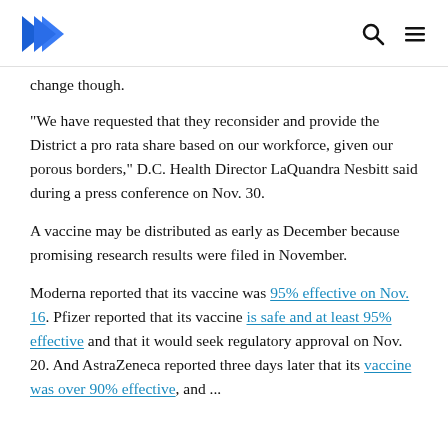[Logo] [Search icon] [Menu icon]
change though.
"We have requested that they reconsider and provide the District a pro rata share based on our workforce, given our porous borders," D.C. Health Director LaQuandra Nesbitt said during a press conference on Nov. 30.
A vaccine may be distributed as early as December because promising research results were filed in November.
Moderna reported that its vaccine was 95% effective on Nov. 16. Pfizer reported that its vaccine is safe and at least 95% effective and that it would seek regulatory approval on Nov. 20. And AstraZeneca reported three days later that its vaccine was over 90% effective, and ...